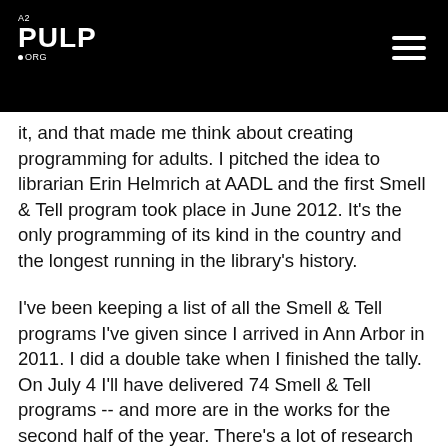A2 PULP ORG
it, and that made me think about creating programming for adults. I pitched the idea to librarian Erin Helmrich at AADL and the first Smell & Tell program took place in June 2012. It's the only programming of its kind in the country and the longest running in the library's history.
I've been keeping a list of all the Smell & Tell programs I've given since I arrived in Ann Arbor in 2011. I did a double take when I finished the tally. On July 4 I'll have delivered 74 Smell & Tell programs -- and more are in the works for the second half of the year. There's a lot of research involved when it comes to designing Smell & Tell programs. I find this aspect thrilling because I learn so much and there are always serendipitous discoveries that lead to new programming along the way. You can't choreograph